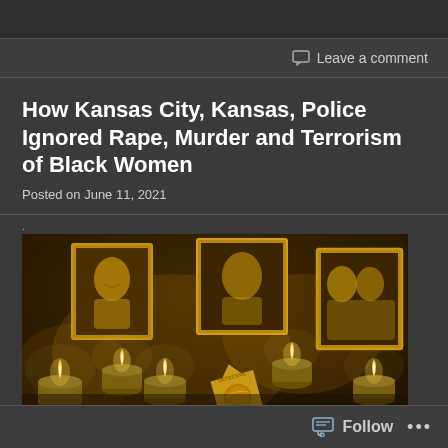Leave a comment
How Kansas City, Kansas, Police Ignored Rape, Murder and Terrorism of Black Women
Posted on June 11, 2021
[Figure (photo): Candlelight memorial scene with tea light candles surrounding framed portrait photographs of Black women and a detective badge from Kansas City, Kansas police department on a dark surface]
Follow ...